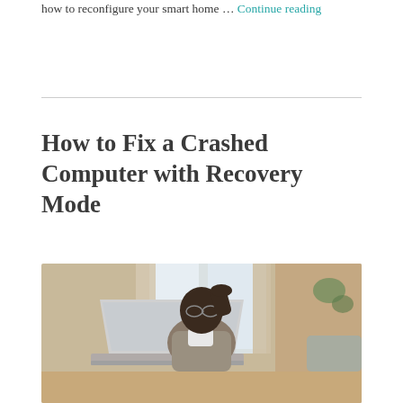how to reconfigure your smart home … Continue reading
How to Fix a Crashed Computer with Recovery Mode
[Figure (photo): A man wearing glasses sitting at a desk looking stressed at a laptop, resting his hand on his forehead. Background shows a bright room with curtains and a plant.]